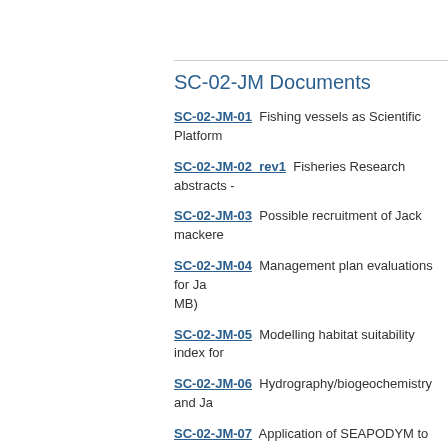SC-02-JM Documents
SC-02-JM-01  Fishing vessels as Scientific Platform
SC-02-JM-02  rev1  Fisheries Research abstracts -
SC-02-JM-03  Possible recruitment of Jack mackere
SC-02-JM-04  Management plan evaluations for Ja MB)
SC-02-JM-05  Modelling habitat suitability index for
SC-02-JM-06  Hydrography/biogeochemistry and Ja
SC-02-JM-07  Application of SEAPODYM to South
SC-02-JM-08  Evaluating the consequences of diffe structure on the sustainable exploitation of Chilean
SC-02-JM-09  Harvest control rule for Jack mackere